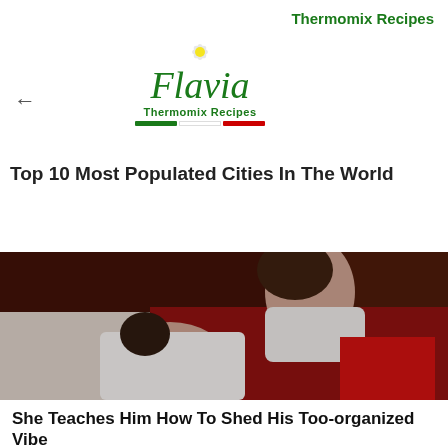Thermomix Recipes
[Figure (logo): Flavia Thermomix Recipes logo with flower, cursive Flavia text, and Italian flag colors]
Top 10 Most Populated Cities In The World
Brainberries
[Figure (photo): A man and woman in an intimate scene on a bed, woman in white top and red shorts leaning over man in white shirt]
She Teaches Him How To Shed His Too-organized Vibe